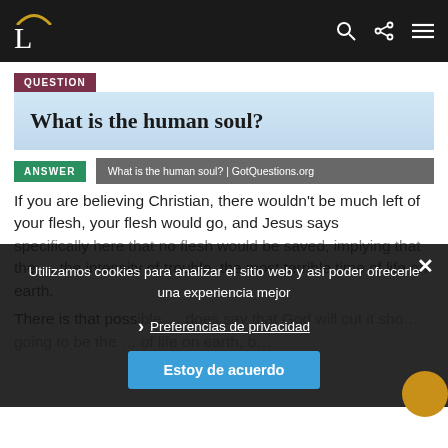L (logo) — navigation bar with search, share, menu icons
QUESTION
What is the human soul?
ANSWER
What is the human soul? | GotQuestions.org
If you are believing Christian, there wouldn't be much left of your flesh, your flesh would go, and Jesus says specifically here that no flesh would be saved, implying that the … the intensity of trouble, the most terrible time of life on earth.
There is that possible … does say that God will cut it sho… going to be the … of life on earth, b…
[Figure (screenshot): Cookie consent overlay in Spanish: 'Utilizamos cookies para analizar el sitio web y así poder ofrecerle una experiencia mejor' with link 'Preferencias de privacidad' and button 'Estoy de acuerdo']